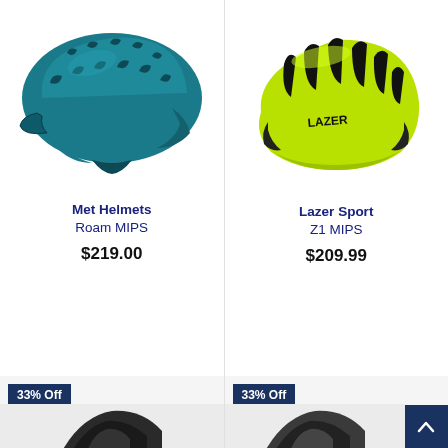[Figure (photo): Teal/blue Met Helmets Roam MIPS mountain bike helmet, side view on white background]
Met Helmets
Roam MIPS
$219.00
[Figure (photo): Lime green and black Lazer Sport Z1 MIPS road bike helmet, side view on white background]
Lazer Sport
Z1 MIPS
$209.99
33% Off
[Figure (photo): Partially visible dark/black helmet at bottom of left column]
33% Off
[Figure (photo): Partially visible dark helmet at bottom of right column]